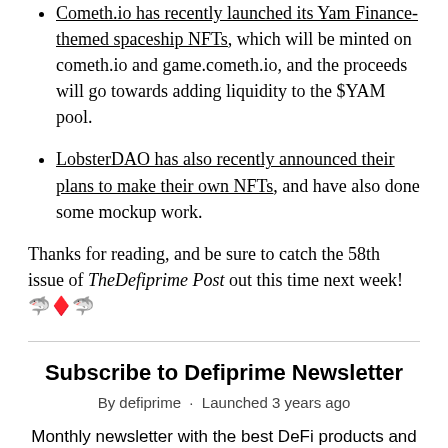Cometh.io has recently launched its Yam Finance-themed spaceship NFTs, which will be minted on cometh.io and game.cometh.io, and the proceeds will go towards adding liquidity to the $YAM pool.
LobsterDAO has also recently announced their plans to make their own NFTs, and have also done some mockup work.
Thanks for reading, and be sure to catch the 58th issue of TheDefiprime Post out this time next week! 🦈♦️🦈
Subscribe to Defiprime Newsletter
By defiprime  ·  Launched 3 years ago
Monthly newsletter with the best DeFi products and DeFi